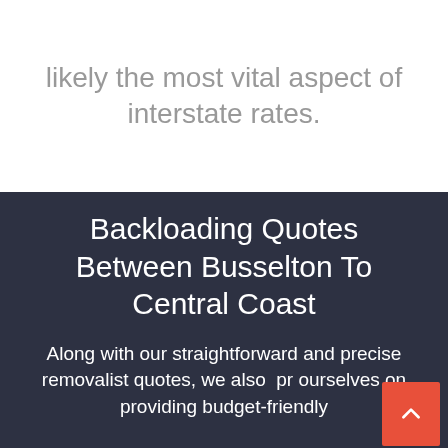likely the most vital aspect of interstate rates.
Backloading Quotes Between Busselton To Central Coast
Along with our straightforward and precise removalist quotes, we also  pr ourselves on providing budget-friendly